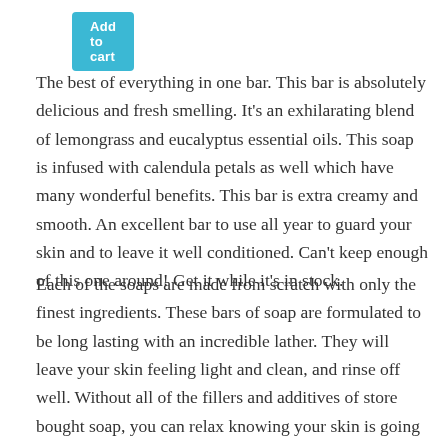[Figure (other): Add to cart button, light blue/teal background with white text]
The best of everything in one bar. This bar is absolutely delicious and fresh smelling. It's an exhilarating blend of lemongrass and eucalyptus essential oils. This soap is infused with calendula petals as well which have many wonderful benefits. This bar is extra creamy and smooth. An excellent bar to use all year to guard your skin and to leave it well conditioned. Can't keep enough of this one around! Get it while it's in stock.
Each of the soaps are made from scratch with only the finest ingredients. These bars of soap are formulated to be long lasting with an incredible lather. They will leave your skin feeling light and clean, and rinse off well. Without all of the fillers and additives of store bought soap, you can relax knowing your skin is going to be pampered and given